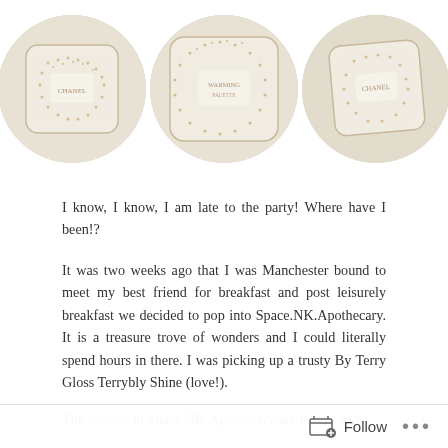[Figure (photo): Three circular-cropped photos of a decorative white and gold jeweled/studded box, shown from different angles, arranged in a row.]
I know, I know, I am late to the party! Where have I been!?
It was two weeks ago that I was Manchester bound to meet my best friend for breakfast and post leisurely breakfast we decided to pop into Space.NK.Apothecary. It is a treasure trove of wonders and I could literally spend hours in there. I was picking up a trusty By Terry Gloss Terrybly Shine (love!).
The women in Space.NK.Apothecary are lovely and
Follow